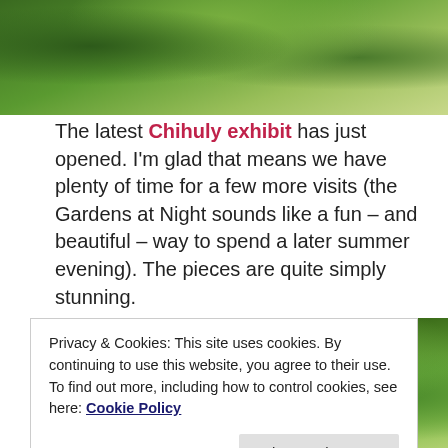[Figure (photo): Outdoor photo showing trees with lush green foliage and bright sky visible through the canopy, top portion of page]
The latest Chihuly exhibit has just opened. I'm glad that means we have plenty of time for a few more visits (the Gardens at Night sounds like a fun – and beautiful – way to spend a later summer evening). The pieces are quite simply stunning.
[Figure (photo): Outdoor photo of trees with green canopy, a prominent tree trunk visible on the left side, bright sky in background]
Privacy & Cookies: This site uses cookies. By continuing to use this website, you agree to their use.
To find out more, including how to control cookies, see here: Cookie Policy
Close and accept